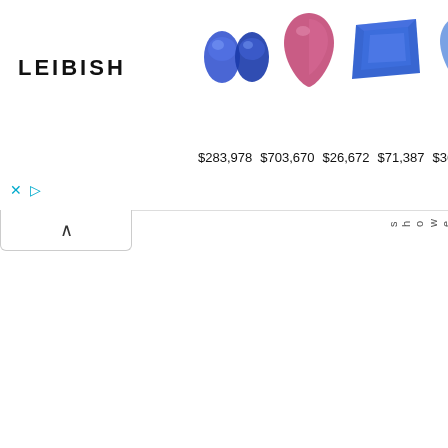[Figure (other): Leibish jewelry advertisement banner showing five gemstones (two blue sapphires, one pink/red gemstone, one blue square-cut sapphire, one light blue pear-shaped sapphire, one blue-green rough stone) with prices below each: $283,978, $703,670, $26,672, $71,387, $361,641. LEIBISH logo on the left. Ad control buttons (X and play) at bottom left.]
showercurtainsky.s